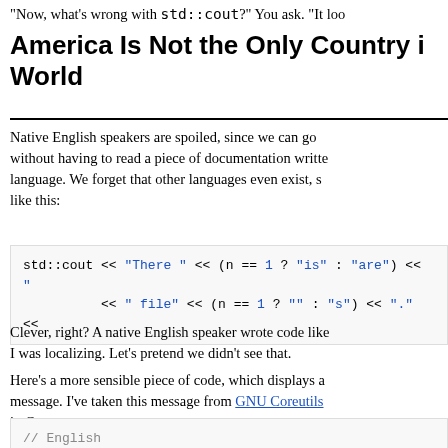"Now, what's wrong with std::cout?" You ask. "It loo
America Is Not the Only Country i… World
Native English speakers are spoiled, since we can go without having to read a piece of documentation written language. We forget that other languages even exist, s like this:
std::cout << "There " << (n == 1 ? "is" : "are") << "
           << " file" << (n == 1 ? "" : "s") << "." <<
Clever, right? A native English speaker wrote code like I was localizing. Let's pretend we didn't see that.
Here's a more sensible piece of code, which displays a message. I've taken this message from GNU Coreutils in C++.
// English